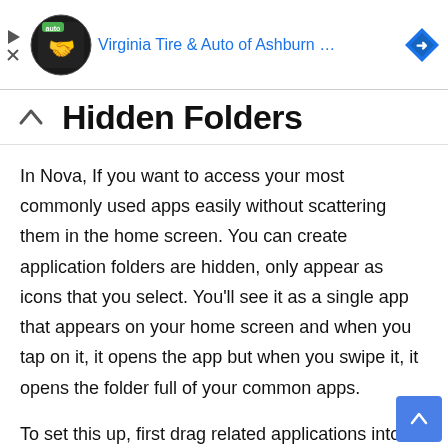[Figure (screenshot): Advertisement banner for Virginia Tire & Auto of Ashburn with logo and navigation arrows]
Hidden Folders
In Nova, If you want to access your most commonly used apps easily without scattering them in the home screen. You can create application folders are hidden, only appear as icons that you select. You'll see it as a single app that appears on your home screen and when you tap on it, it opens the app but when you swipe it, it opens the folder full of your common apps.
To set this up, first drag related applications into folders as usual. Then long-press on the folder